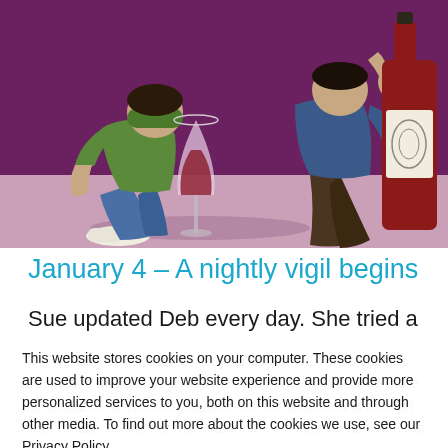[Figure (illustration): Cartoon illustration showing two people kneeling on a purple/dark floor, one in green clothing hunched over, one in blue/dark clothing kneeling, with a red wine glass and a wine bottle visible between them]
January 4 – A nightly vigil begins
Sue updated Deb every day. She tried a couple of times to get him to come inside but he always took off running. "It
This website stores cookies on your computer. These cookies are used to improve your website experience and provide more personalized services to you, both on this website and through other media. To find out more about the cookies we use, see our Privacy Policy.
We won't track your information when you visit our site. But in order to comply with your preferences, we'll have to use just one tiny cookie so that you're not asked to make this choice again.